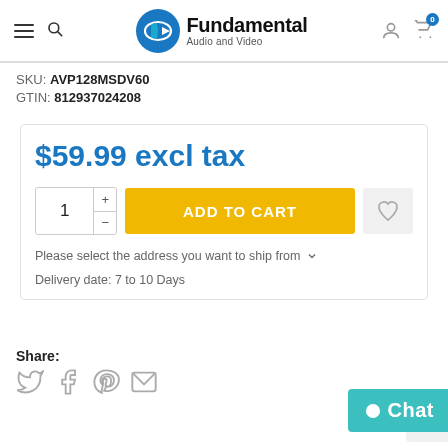[Figure (logo): Fundamental Audio and Video logo with hamburger menu and search icon on left, user account and cart (badge 0) icons on right]
SKU: AVP128MSDV60
GTIN: 812937024208
$59.99 excl tax
ADD TO CART
Please select the address you want to ship from
Delivery date: 7 to 10 Days
Share:
[Figure (illustration): Social share icons: Twitter, Facebook, Pinterest, Email]
[Figure (other): Chat button (teal) and partial reCAPTCHA badge]